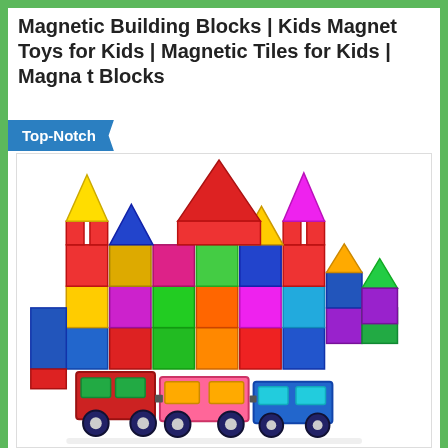Magnetic Building Blocks | Kids Magnet Toys for Kids | Magnetic Tiles for Kids | Magna t Blocks
Top-Notch
[Figure (photo): Colorful magnetic building tiles arranged as a castle with towers, and a magnetic tile train in the foreground, on a white background.]